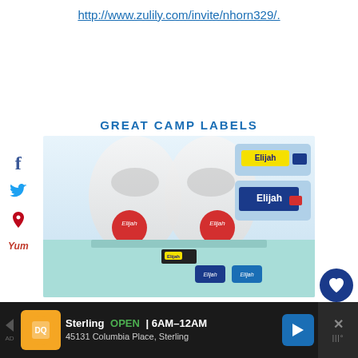http://www.zulily.com/invite/nhorn329/.
GREAT CAMP LABELS
[Figure (photo): Photo of personalized camp labels branded with the name 'Elijah' on shoes, food containers, shirt tag, and keychains]
0
SHARES
[Figure (infographic): Advertisement bar: Sterling OPEN 6AM-12AM, 45131 Columbia Place, Sterling]